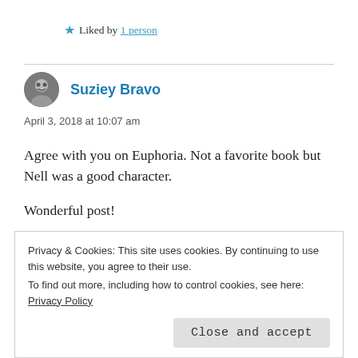★ Liked by 1 person
Suziey Bravo
April 3, 2018 at 10:07 am
Agree with you on Euphoria. Not a favorite book but Nell was a good character.

Wonderful post!
Privacy & Cookies: This site uses cookies. By continuing to use this website, you agree to their use.
To find out more, including how to control cookies, see here: Privacy Policy
Close and accept